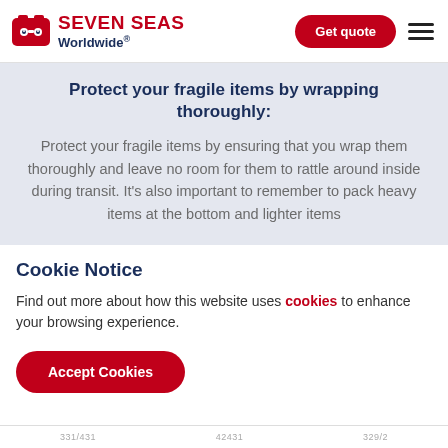SEVEN SEAS Worldwide®
Protect your fragile items by wrapping thoroughly:
Protect your fragile items by ensuring that you wrap them thoroughly and leave no room for them to rattle around inside during transit. It's also important to remember to pack heavy items at the bottom and lighter items
Cookie Notice
Find out more about how this website uses cookies to enhance your browsing experience.
Accept Cookies